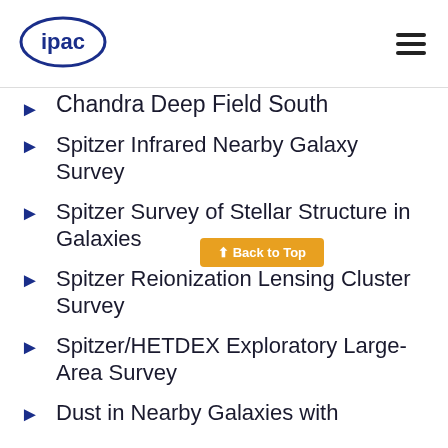IPAC
Chandra Deep Field South
Spitzer Infrared Nearby Galaxy Survey
Spitzer Survey of Stellar Structure in Galaxies
Spitzer Reionization Lensing Cluster Survey
Spitzer/HETDEX Exploratory Large-Area Survey
Dust in Nearby Galaxies with